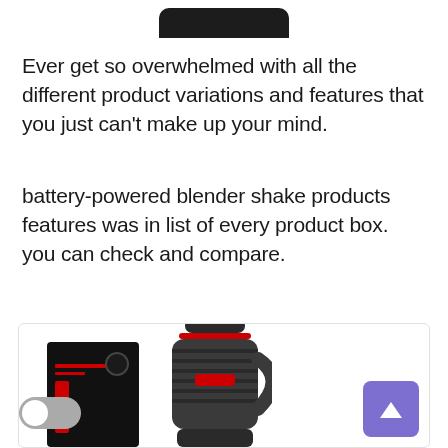[Figure (photo): Top portion of a black product (blender/bottle) cropped at top of page]
Ever get so overwhelmed with all the different product variations and features that you just can't make up your mind.
battery-powered blender shake products features was in list of every product box. you can check and compare.
[Figure (photo): Product card showing a black blender shake bottle and its packaging box with red accents, with a toggle switch UI element and a scroll-to-top button overlay]